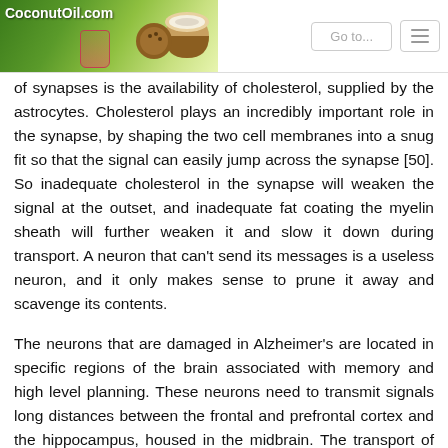CoconutOil.com | Go to...
of synapses is the availability of cholesterol, supplied by the astrocytes. Cholesterol plays an incredibly important role in the synapse, by shaping the two cell membranes into a snug fit so that the signal can easily jump across the synapse [50]. So inadequate cholesterol in the synapse will weaken the signal at the outset, and inadequate fat coating the myelin sheath will further weaken it and slow it down during transport. A neuron that can't send its messages is a useless neuron, and it only makes sense to prune it away and scavenge its contents.
The neurons that are damaged in Alzheimer's are located in specific regions of the brain associated with memory and high level planning. These neurons need to transmit signals long distances between the frontal and prefrontal cortex and the hippocampus, housed in the midbrain. The transport of these signals depends on a strong and tight connection in the synapse, where the signal is transferred from one neuron to another, and across great expansions in the deep...